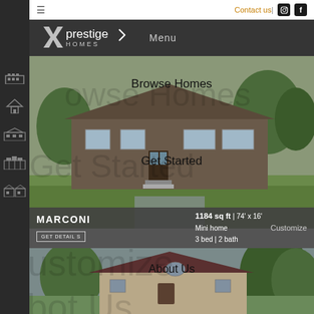Contact us | Instagram | Facebook
[Figure (logo): Prestige Homes logo with chevron, white text on dark background]
Menu
[Figure (photo): Rendered 3D image of a brown single-story mini home with front porch and steps, on a green lawn with trees in background]
Browse Homes
Get Started
MARCONI
1184 sq ft | 74' x 16'
Mini home
3 bed | 2 bath
GET DETAILS
Customize
[Figure (photo): Rendered image of a beige/brown two-story home with dark roof, front gable and entry, surrounded by trees]
About Us